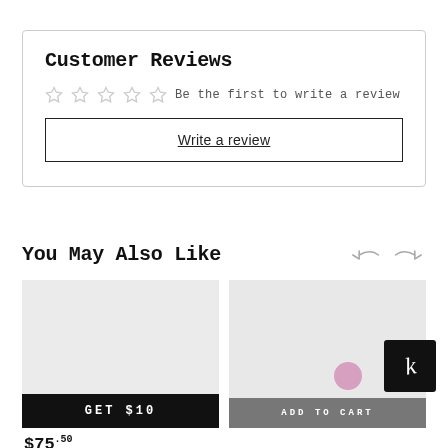Customer Reviews
☆ ☆ ☆ ☆ ☆  Be the first to write a review
Write a review
You May Also Like
[Figure (other): Product card with 'GET $10' badge overlay, price $75.50]
[Figure (other): Product card with 'ADD TO CART' button and K logo badge]